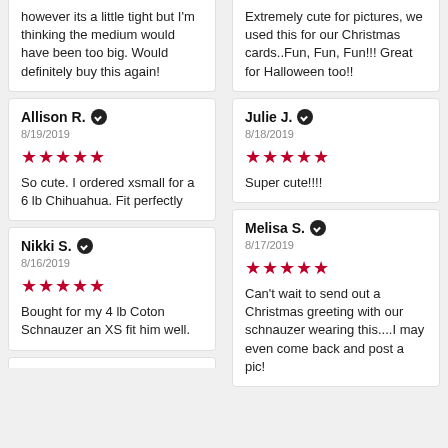however its a little tight but I'm thinking the medium would have been too big. Would definitely buy this again!
Extremely cute for pictures, we used this for our Christmas cards..Fun, Fun, Fun!!! Great for Halloween too!!
Allison R. ✓
8/19/2019
★★★★★
So cute. I ordered xsmall for a 6 lb Chihuahua. Fit perfectly
Julie J. ✓
8/18/2019
★★★★★
Super cute!!!!
Nikki S. ✓
8/16/2019
★★★★★
Bought for my 4 lb Coton Schnauzer an XS fit him well.
Melisa S. ✓
8/17/2019
★★★★★
Can't wait to send out a Christmas greeting with our schnauzer wearing this....I may even come back and post a pic!